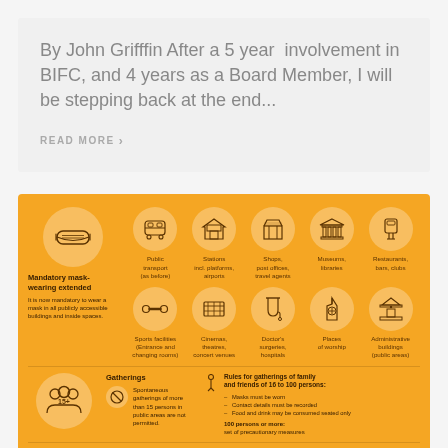By John Grifffin After a 5 year involvement in BIFC, and 4 years as a Board Member, I will be stepping back at the end...
READ MORE >
[Figure (infographic): Orange infographic about mandatory mask-wearing rules and COVID-19 gathering restrictions. Shows icons for various public venues (public transport, stations, shops, museums, restaurants, sports facilities, cinemas, doctor surgeries, places of worship, administrative buildings). Includes sections on gatherings (spontaneous gatherings of more than 15 persons in public areas are not permitted), rules for family/friends gatherings of 16-100 persons, hospitality venues, and recommendations for working from home.]